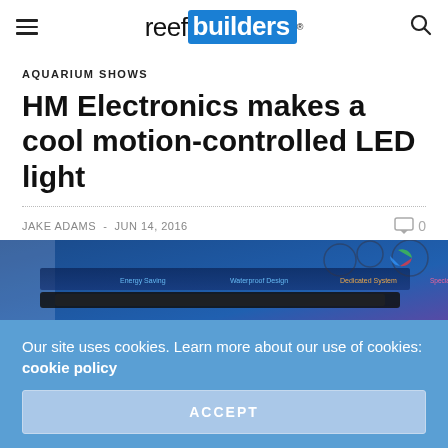reef builders
AQUARIUM SHOWS
HM Electronics makes a cool motion-controlled LED light
JAKE ADAMS · JUN 14, 2016  0
[Figure (photo): Photo of an LED light product display with blue lighting and text panels at what appears to be an aquarium trade show]
Our site uses cookies. Learn more about our use of cookies: cookie policy
ACCEPT